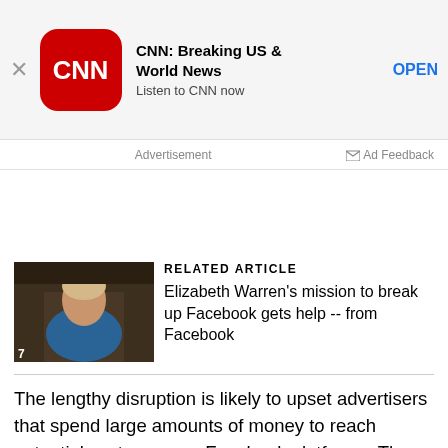[Figure (screenshot): CNN app advertisement banner with CNN logo, title 'CNN: Breaking US & World News', subtitle 'Listen to CNN now', and OPEN button]
Advertisement
Ad Feedback
[Figure (photo): Photo of Elizabeth Warren speaking at a hearing, wearing a blue jacket]
RELATED ARTICLE
Elizabeth Warren's mission to break up Facebook gets help -- from Facebook
The lengthy disruption is likely to upset advertisers that spend large amounts of money to reach potential customers on Facebook platforms. The company's flagship social network has more than